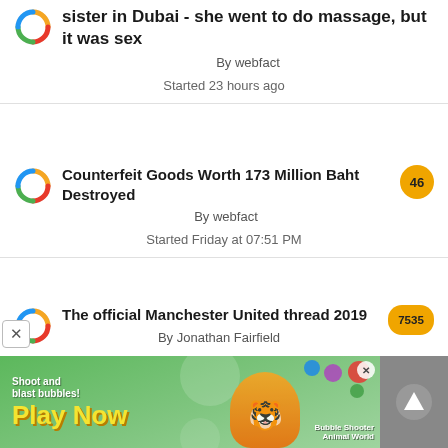sister in Dubai - she went to do massage, but it was sex
By webfact
Started 23 hours ago
Counterfeit Goods Worth 173 Million Baht Destroyed
By webfact
Started Friday at 07:51 PM
The official Manchester United thread 2019
By Jonathan Fairfield
Started December 4, 2018
[Figure (screenshot): Mobile game advertisement banner: Bubble Shooter Animal World 'Play Now']